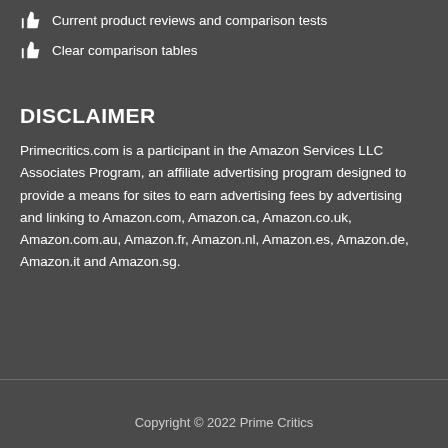Current product reviews and comparison tests
Clear comparison tables
DISCLAIMER
Primecritics.com is a participant in the Amazon Services LLC Associates Program, an affiliate advertising program designed to provide a means for sites to earn advertising fees by advertising and linking to Amazon.com, Amazon.ca, Amazon.co.uk, Amazon.com.au, Amazon.fr, Amazon.nl, Amazon.es, Amazon.de, Amazon.it and Amazon.sg.
Copyright © 2022 Prime Critics